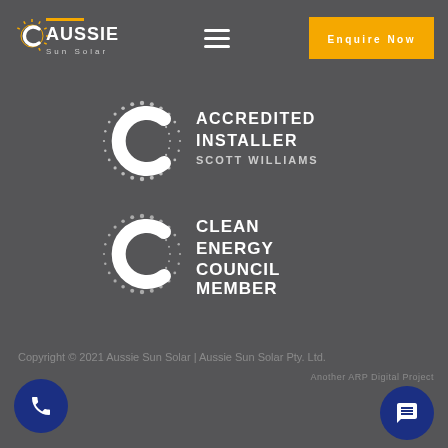[Figure (logo): Aussie Sun Solar logo with sun rays icon, orange accent bar, white text AUSSIE and subtitle Sun Solar]
[Figure (logo): Accredited Installer badge with stylized C logo made of dots, text ACCREDITED INSTALLER SCOTT WILLIAMS]
[Figure (logo): Clean Energy Council Member badge with stylized C logo made of dots, text CLEAN ENERGY COUNCIL MEMBER]
Copyright © 2021 Aussie Sun Solar | Aussie Sun Solar Pty. Ltd.
Another ARP Digital Project